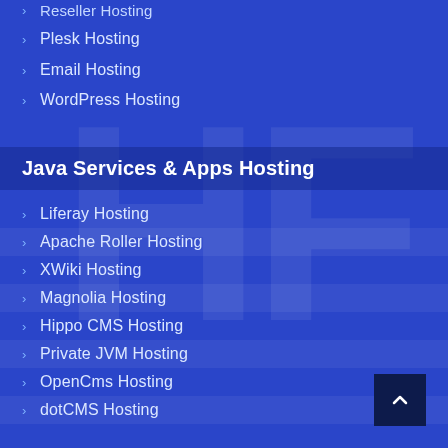Reseller Hosting
Plesk Hosting
Email Hosting
WordPress Hosting
Java Services & Apps Hosting
Liferay Hosting
Apache Roller Hosting
XWiki Hosting
Magnolia Hosting
Hippo CMS Hosting
Private JVM Hosting
OpenCms Hosting
dotCMS Hosting